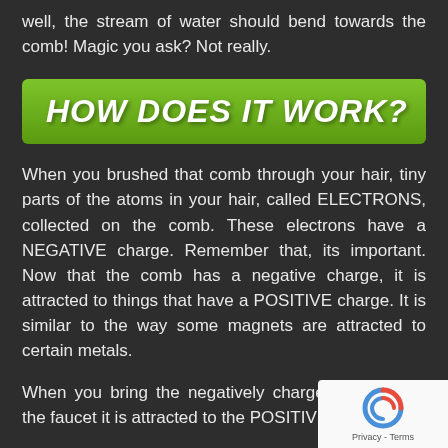well, the stream of water should bend towards the comb! Magic you ask? Not really.
HOW DOES IT WORK?
When you brushed that comb through your hair, tiny parts of the atoms in your hair, called ELECTRONS, collected on the comb. These electrons have a NEGATIVE charge. Remember that, its important. Now that the comb has a negative charge, it is attracted to things that have a POSITIVE charge. It is similar to the way some magnets are attracted to certain metals.
When you bring the negatively charged comb near the faucet it is attracted to the POSITIVE force of the